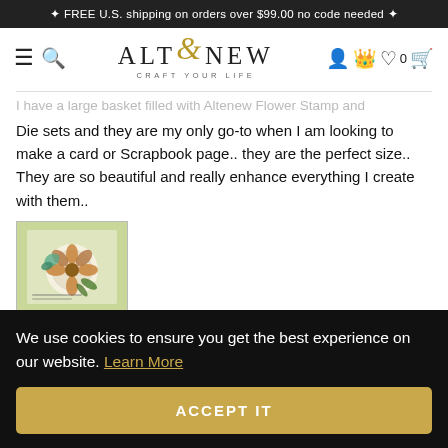✦ FREE U.S. shipping on orders over $99.00 no code needed ✦
[Figure (logo): Altenew logo with stylized ampersand and tagline CRAFT YOUR LIFE]
...I have a large basket filled with Altenew Flower Stamp and Die sets and they are my only go-to when I am looking to make a card or Scrapbook page.. they are the perfect size.. They are so beautiful and really enhance everything I create with them..
[Figure (photo): Thumbnail image of a handmade card with flowers and butterfly on green background]
We use cookies to ensure you get the best experience on our website. Learn More
ACCEPT IT